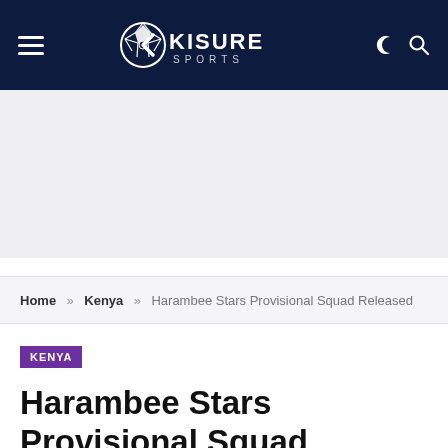Kisure Sports — navigation header with hamburger menu, logo, moon icon, and search icon
[Figure (other): Grey advertisement/banner placeholder area]
Home » Kenya » Harambee Stars Provisional Squad Released
KENYA
Harambee Stars Provisional Squad Released